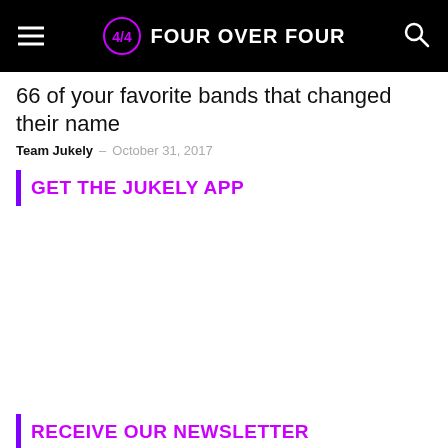Four Over Four
66 of your favorite bands that changed their name
Team Jukely - October 31, 2017
GET THE JUKELY APP
RECEIVE OUR NEWSLETTER